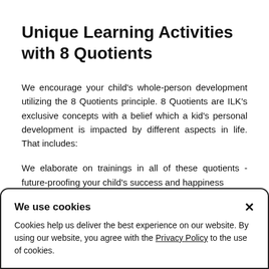Unique Learning Activities with 8 Quotients
We encourage your child's whole-person development utilizing the 8 Quotients principle. 8 Quotients are ILK's exclusive concepts with a belief which a kid's personal development is impacted by different aspects in life. That includes:
We elaborate on trainings in all of these quotients - future-proofing your child's success and happiness
We use cookies
Cookies help us deliver the best experience on our website. By using our website, you agree with the Privacy Policy to the use of cookies.